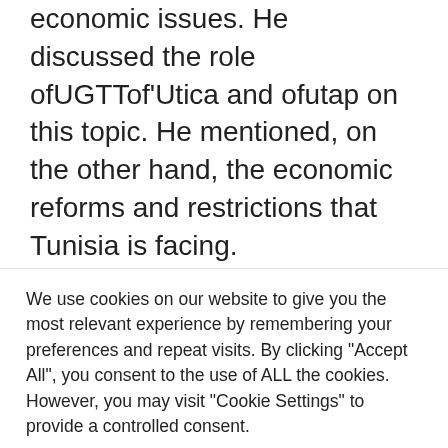economic issues. He discussed the role ofUGTTof’Utica and ofutap on this topic. He mentioned, on the other hand, the economic reforms and restrictions that Tunisia is facing.
evoke the independence of justice, Brahim Boduerbala claimed that only a few judges had received bribes or were under the influence of a political undercurrent. The
We use cookies on our website to give you the most relevant experience by remembering your preferences and repeat visits. By clicking “Accept All”, you consent to the use of ALL the cookies. However, you may visit "Cookie Settings" to provide a controlled consent.
Cookie Settings
Accept All